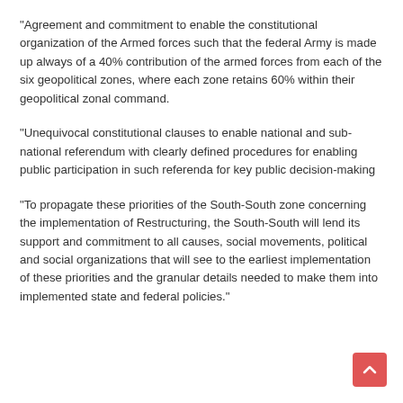“Agreement and commitment to enable the constitutional organization of the Armed forces such that the federal Army is made up always of a 40% contribution of the armed forces from each of the six geopolitical zones, where each zone retains 60% within their geopolitical zonal command.
“Unequivocal constitutional clauses to enable national and sub-national referendum with clearly defined procedures for enabling public participation in such referenda for key public decision-making
“To propagate these priorities of the South-South zone concerning the implementation of Restructuring, the South-South will lend its support and commitment to all causes, social movements, political and social organizations that will see to the earliest implementation of these priorities and the granular details needed to make them into implemented state and federal policies.”